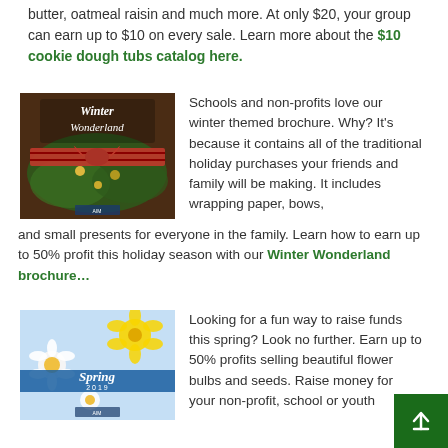butter, oatmeal raisin and much more. At only $20, your group can earn up to $10 on every sale. Learn more about the $10 cookie dough tubs catalog here.
[Figure (photo): Winter Wonderland brochure cover with holiday wreath and red plaid ribbon]
Schools and non-profits love our winter themed brochure. Why? It's because it contains all of the traditional holiday purchases your friends and family will be making. It includes wrapping paper, bows, and small presents for everyone in the family. Learn how to earn up to 50% profit this holiday season with our Winter Wonderland brochure…
[Figure (photo): Spring 2019 brochure cover with daisies and flower bulbs]
Looking for a fun way to raise funds this spring? Look no further. Earn up to 50% profits selling beautiful flower bulbs and seeds. Raise money for your non-profit, school or youth